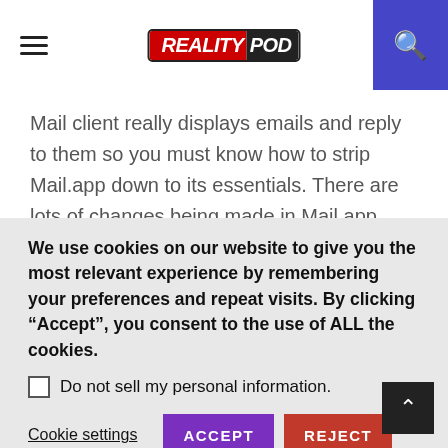RealityPod
Mail client really displays emails and reply to them so you must know how to strip Mail.app down to its essentials. There are lots of changes being made in Mail.app.
For the first step of minimal Mail.app you need to hide the toolbars and buttons. The keyboard shortcut is there so that there is no need of buttons. In order to remove them just right click anywhere on the toolbar and select
We use cookies on our website to give you the most relevant experience by remembering your preferences and repeat visits. By clicking “Accept”, you consent to the use of ALL the cookies.
Do not sell my personal information.
Cookie settings  ACCEPT  REJECT